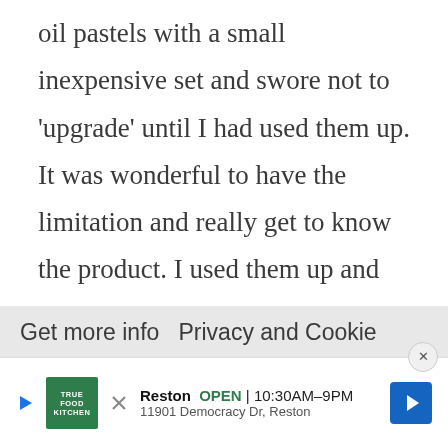oil pastels with a small inexpensive set and swore not to 'upgrade' until I had used them up. It was wonderful to have the limitation and really get to know the product. I used them up and that lead to an unrestrained buying spree. Today, I have complete sets of all the high-end oil pastels, soft pastels and hard pastels. I don't want to add
Get more info  Privacy and Cookie
[Figure (other): Advertisement banner for True Food Kitchen restaurant: logo, play/cancel icons, restaurant name 'Reston', status 'OPEN | 10:30AM-9PM', address '11901 Democracy Dr, Reston', and a blue navigation arrow icon.]